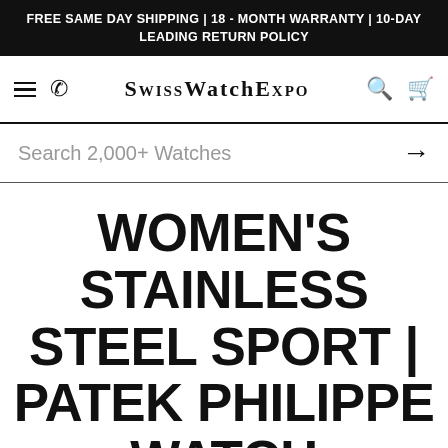FREE SAME DAY SHIPPING | 18 - MONTH WARRANTY | 10-DAY LEADING RETURN POLICY
SwissWatchExpo
Search 2,000+ Watches
WOMEN'S STAINLESS STEEL SPORT | PATEK PHILIPPE WATCH COLLECTION
4 MATCHES FOUND